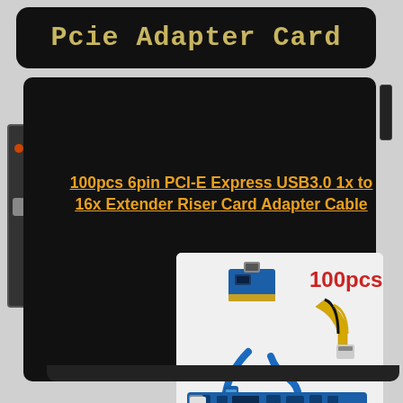Pcie Adapter Card
100pcs 6pin PCI-E Express USB3.0 1x to 16x Extender Riser Card Adapter Cable
[Figure (photo): Product photo of a PCI-E riser card adapter kit including a blue USB 3.0 cable, a 6-pin power cable (yellow/black), a small PCIe 1x adapter card, and a blue PCIe 16x riser board. Text overlay says '100pcs' in red. eBay watermark at bottom.]